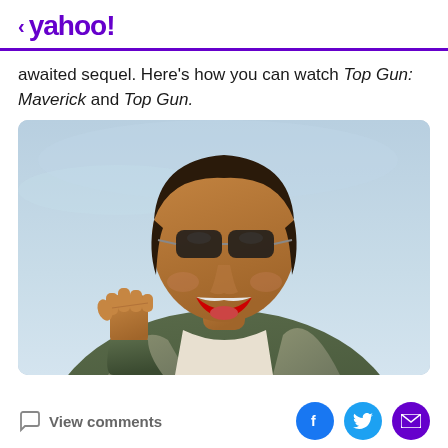< yahoo!
awaited sequel. Here's how you can watch Top Gun: Maverick and Top Gun.
[Figure (photo): A man wearing aviator sunglasses and a military flight suit/jacket, pumping his fist in celebration, mouth open in excitement, against a light blue sky background.]
View comments